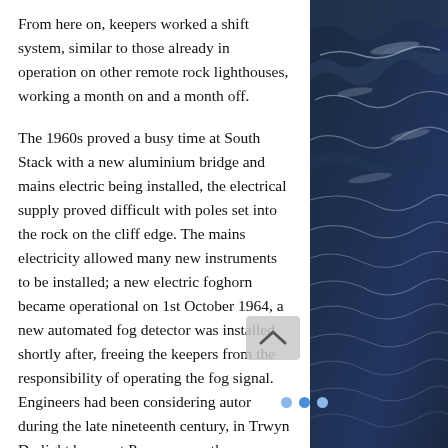From here on, keepers worked a shift system, similar to those already in operation on other remote rock lighthouses, working a month on and a month off.
The 1960s proved a busy time at South Stack with a new aluminium bridge and mains electric being installed, the electrical supply proved difficult with poles set into the rock on the cliff edge. The mains electricity allowed many new instruments to be installed; a new electric foghorn became operational on 1st October 1964, a new automated fog detector was installed shortly after, freeing the keepers from the responsibility of operating the fog signal. Engineers had been considering autor during the late nineteenth century, in Trwyn Du light house at Penmon was the
[Figure (photo): Ocean/sea surface photograph showing dark blue waves with white foam, taken at an angle]